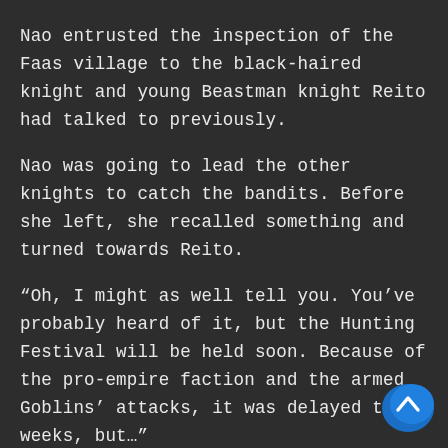Nao entrusted the inspection of the Faas village to the black-haired knight and young Beastman knight Reito had talked to previously.
Nao was going to lead the other knights to catch the bandits. Before she left, she recalled something and turned towards Reito.
“Oh, I might as well tell you. You’ve probably heard of it, but the Hunting Festival will be held soon. Because of the pro-empire faction and the armed Goblins’ attacks, it was delayed two weeks, but…”
“Hunting Festival…?”